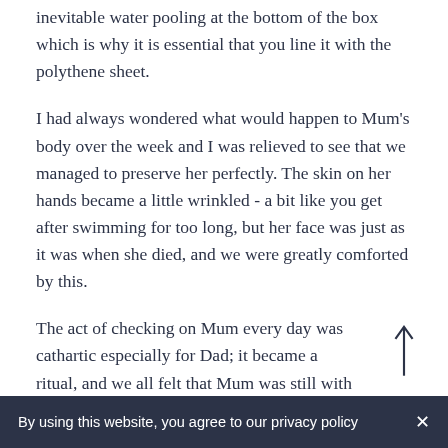inevitable water pooling at the bottom of the box which is why it is essential that you line it with the polythene sheet.
I had always wondered what would happen to Mum's body over the week and I was relieved to see that we managed to preserve her perfectly. The skin on her hands became a little wrinkled - a bit like you get after swimming for too long, but her face was just as it was when she died, and we were greatly comforted by this.
The act of checking on Mum every day was cathartic especially for Dad; it became a ritual, and we all felt that Mum was still with us at home where she belonged. Looking back, I could not now bear the
By using this website, you agree to our privacy policy